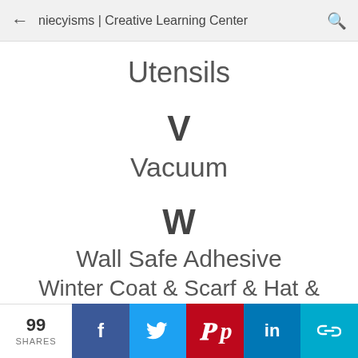niecyisms | Creative Learning Center
Utensils
V
Vacuum
W
Wall Safe Adhesive
Winter Coat & Scarf & Hat & Gloves
99 SHARES — social share bar: Facebook, Twitter, Pinterest, LinkedIn, Link